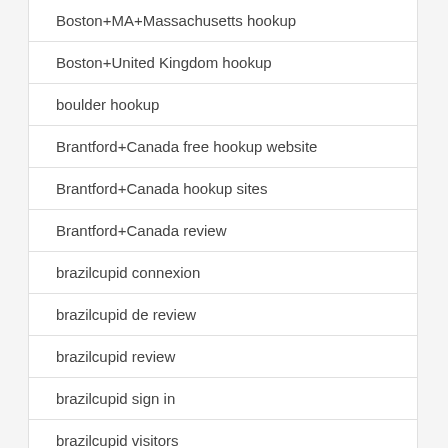Boston+MA+Massachusetts hookup
Boston+United Kingdom hookup
boulder hookup
Brantford+Canada free hookup website
Brantford+Canada hookup sites
Brantford+Canada review
brazilcupid connexion
brazilcupid de review
brazilcupid review
brazilcupid sign in
brazilcupid visitors